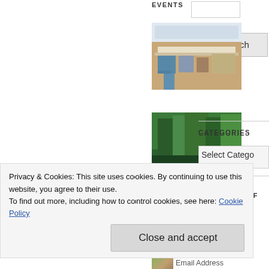EVENTS
[Figure (photo): Indoor market or fair with tents and furniture displays]
[Figure (photo): Green forest trees scene]
CURRENT SPECIALS
[Figure (photo): Art items and lamps with blue and purple tones]
CATEGORIES
Select Catego
FOLLOW PORTRAITS OF ANIMALS
Privacy & Cookies: This site uses cookies. By continuing to use this website, you agree to their use.
To find out more, including how to control cookies, see here: Cookie Policy
Close and accept
[Figure (photo): Small thumbnail image]
Email Address